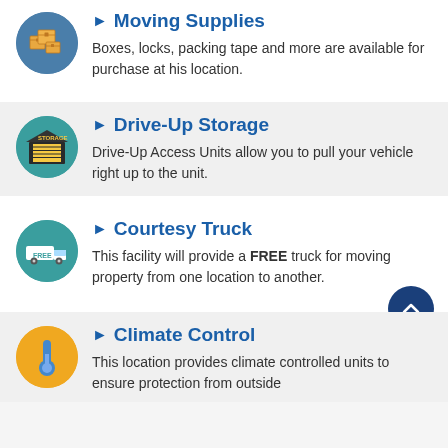[Figure (illustration): Teal circle icon with cardboard boxes stacked (moving supplies icon)]
Moving Supplies
Boxes, locks, packing tape and more are available for purchase at his location.
[Figure (illustration): Teal circle icon with a storage building/garage door (drive-up storage icon)]
Drive-Up Storage
Drive-Up Access Units allow you to pull your vehicle right up to the unit.
[Figure (illustration): Teal circle icon with a truck and FREE label (courtesy truck icon)]
Courtesy Truck
This facility will provide a FREE truck for moving property from one location to another.
[Figure (illustration): Orange/yellow circle icon with a thermometer (climate control icon)]
Climate Control
This location provides climate controlled units to ensure protection from outside